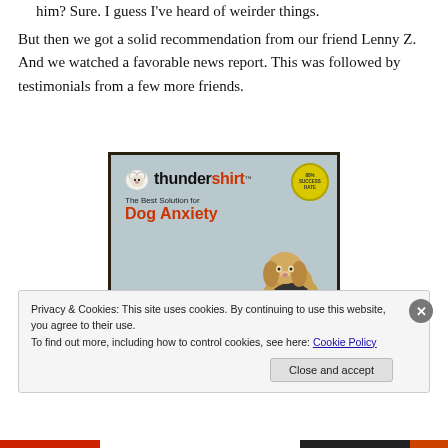him? Sure. I guess I've heard of weirder things.
But then we got a solid recommendation from our friend Lenny Z. And we watched a favorable news report. This was followed by testimonials from a few more friends.
[Figure (photo): Photo of a Thundershirt product box showing a golden dog wearing a dark shirt. The box reads: 'thundershirt - The Best Solution for Dog Anxiety - Safe - Effective - Drug Free']
Privacy & Cookies: This site uses cookies. By continuing to use this website, you agree to their use.
To find out more, including how to control cookies, see here: Cookie Policy
Close and accept